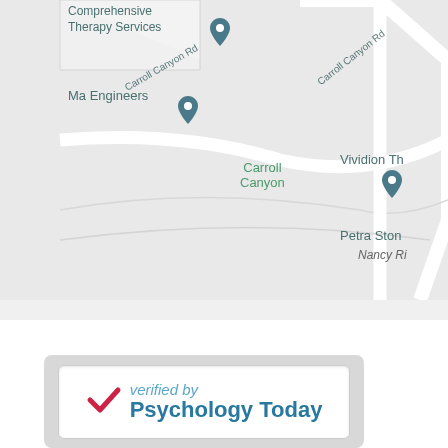[Figure (map): Google Maps screenshot showing Carroll Canyon Rd area with location pins for Comprehensive Therapy Services, Ma Engineers, Vividion Th (truncated), Petra Ston (truncated), Nancy Ri (truncated). Roads labeled Carroll Canyon Rd. Area name Carroll Canyon shown in green.]
[Figure (logo): Verified by Psychology Today badge with red checkmark and blue text on white background with gray border, inside a gray rounded rectangle container.]